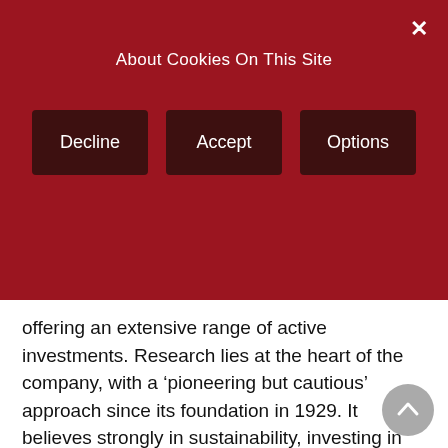About Cookies On This Site
Decline
Accept
Options
offering an extensive range of active investments. Research lies at the heart of the company, with a 'pioneering but cautious' approach since its foundation in 1929. It believes strongly in sustainability, investing in quantitative techniques, and constant innovation. The company has a global footprint, with its head office in Rotterdam, as well as offices in Europe, United States, the Middle East, Australia, and Asia.
The right balance between